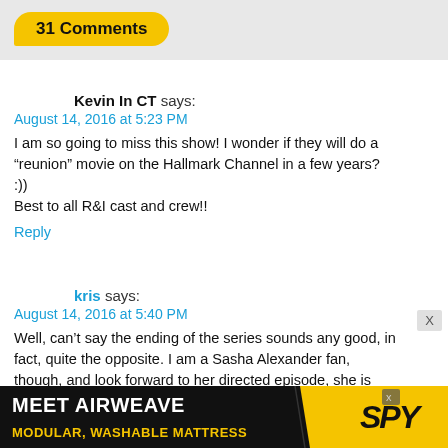31 Comments
Kevin In CT says:
August 14, 2016 at 5:23 PM
I am so going to miss this show! I wonder if they will do a “reunion” movie on the Hallmark Channel in a few years? :))
Best to all R&I cast and crew!!
Reply
kris says:
August 14, 2016 at 5:40 PM
Well, can’t say the ending of the series sounds any good, in fact, quite the opposite. I am a Sasha Alexander fan, though, and look forward to her directed episode, she is
[Figure (other): Advertisement banner: MEET AIRWEAVE MODULAR, WASHABLE MATTRESS with SPY logo]